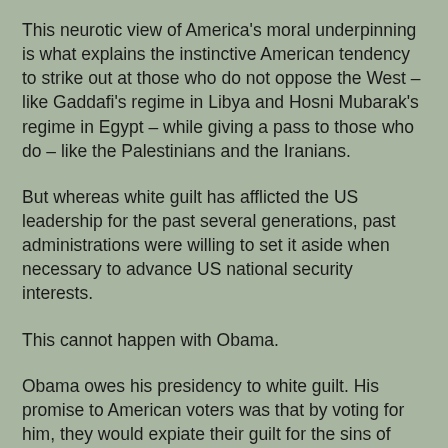This neurotic view of America's moral underpinning is what explains the instinctive American tendency to strike out at those who do not oppose the West – like Gaddafi's regime in Libya and Hosni Mubarak's regime in Egypt – while giving a pass to those who do – like the Palestinians and the Iranians.
But whereas white guilt has afflicted the US leadership for the past several generations, past administrations were willing to set it aside when necessary to advance US national security interests.
This cannot happen with Obama.
Obama owes his presidency to white guilt. His promise to American voters was that by voting for him, they would expiate their guilt for the sins of European imperialists and southern racists.
It was the American desire to move beyond the past that enabled a first-term senator with radical connections and the most liberal voting record in the Senate to get elected to the